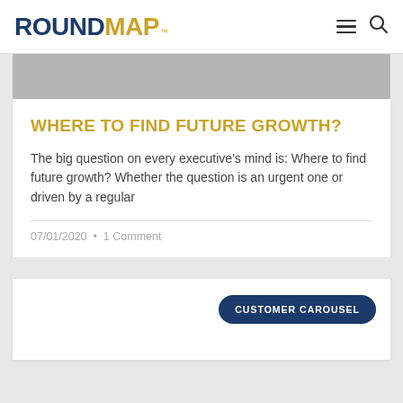ROUNDMAP™
[Figure (screenshot): Gray banner image strip at top of article card]
WHERE TO FIND FUTURE GROWTH?
The big question on every executive's mind is: Where to find future growth? Whether the question is an urgent one or driven by a regular
07/01/2020  •  1 Comment
[Figure (screenshot): Second article card with CUSTOMER CAROUSEL button label on dark navy pill button]